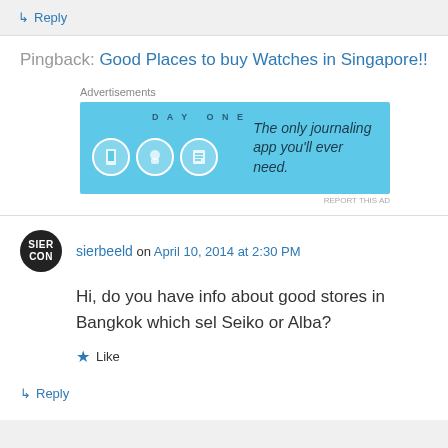↳ Reply
Pingback: Good Places to buy Watches in Singapore!!
[Figure (other): Advertisement banner for DayOne journaling app on a light blue background with icons and text: 'The only journaling app you'll ever need.']
REPORT THIS AD
sierbeeld on April 10, 2014 at 2:30 PM
Hi, do you have info about good stores in Bangkok which sel Seiko or Alba?
★ Like
↳ Reply